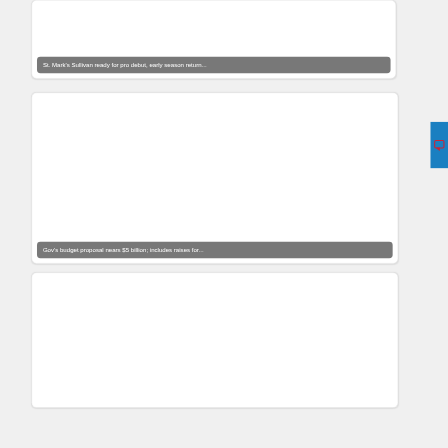[Figure (screenshot): News article card with image placeholder and caption overlay: 'St. Mark's Sullivan ready for pro debut, early season return...']
St. Mark's Sullivan ready for pro debut, early season return...
[Figure (screenshot): News article card with image placeholder and caption overlay: 'Gov's budget proposal nears $5 billion; includes raises for...']
Gov's budget proposal nears $5 billion; includes raises for...
[Figure (screenshot): News article card with image placeholder, partial view at bottom of page]
[Figure (other): Blue sidebar tab with red speech bubble / comment icon on the right edge]